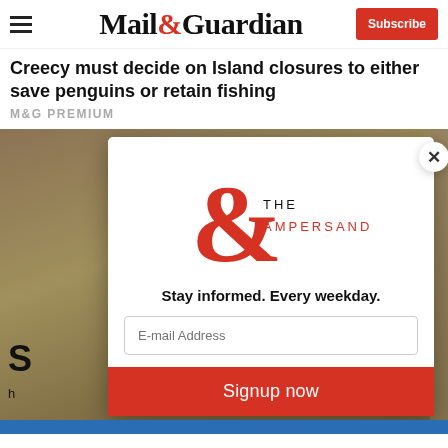Mail&Guardian — Subscribe
Creecy must decide on Island closures to either save penguins or retain fishing
M&G PREMIUM
[Figure (screenshot): The Ampersand newsletter signup modal overlay on the Mail & Guardian article page. Contains the Ampersand logo (large red ampersand with 'THE AMPERSAND' text), tagline 'Stay informed. Every weekday.', email input field, and 'Signup now' red button. A close X button appears in top-right corner of modal.]